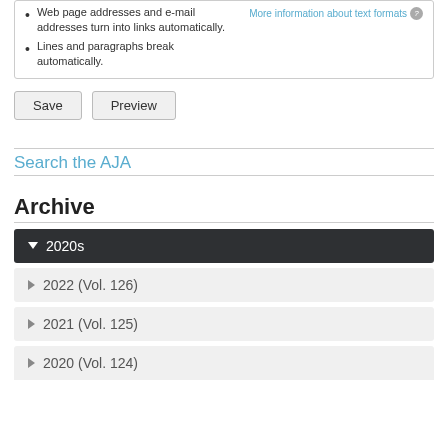Web page addresses and e-mail addresses turn into links automatically.
Lines and paragraphs break automatically.
More information about text formats
Save  Preview
Search the AJA
Archive
▼ 2020s
▶ 2022 (Vol. 126)
▶ 2021 (Vol. 125)
▶ 2020 (Vol. 124)